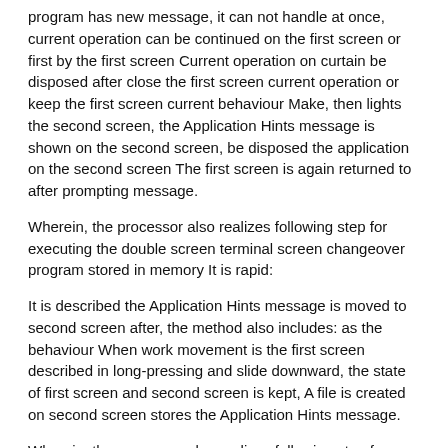program has new message, it can not handle at once, current operation can be continued on the first screen or first by the first screen Current operation on curtain be disposed after close the first screen current operation or keep the first screen current behaviour Make, then lights the second screen, the Application Hints message is shown on the second screen, be disposed the application on the second screen The first screen is again returned to after prompting message.
Wherein, the processor also realizes following step for executing the double screen terminal screen changeover program stored in memory It is rapid:
It is described the Application Hints message is moved to second screen after, the method also includes: as the behaviour When work movement is the first screen described in long-pressing and slide downward, the state of first screen and second screen is kept, A file is created on second screen stores the Application Hints message.
Wherein, the processor also realizes following step for executing the double screen terminal screen changeover program stored in memory It is rapid: